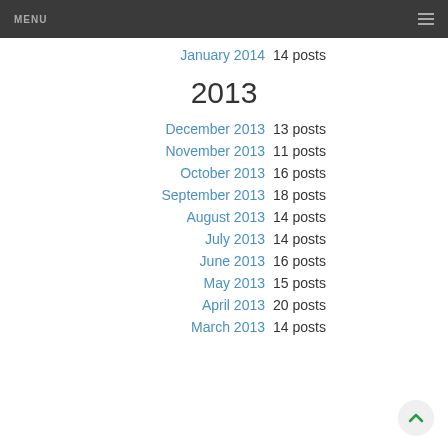MENU
January 2014  14 posts
2013
December 2013  13 posts
November 2013  11 posts
October 2013  16 posts
September 2013  18 posts
August 2013  14 posts
July 2013  14 posts
June 2013  16 posts
May 2013  15 posts
April 2013  20 posts
March 2013  14 posts